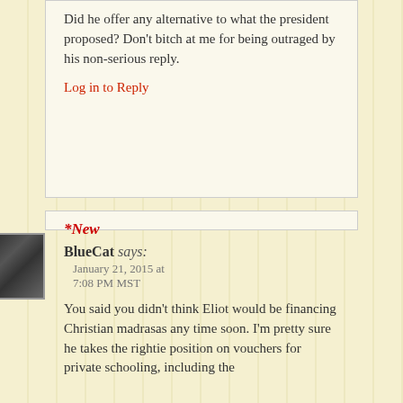Did he offer any alternative to what the president proposed?  Don't bitch at me for being outraged by his non-serious reply.
Log in to Reply
*New
BlueCat says:
January 21, 2015 at
7:08 PM MST
You said you didn't think Eliot would be financing Christian madrasas any time soon. I'm pretty sure he takes the rightie position on vouchers for private schooling, including the